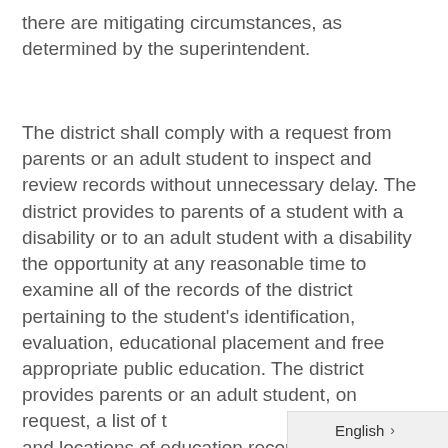there are mitigating circumstances, as determined by the superintendent.
The district shall comply with a request from parents or an adult student to inspect and review records without unnecessary delay. The district provides to parents of a student with a disability or to an adult student with a disability the opportunity at any reasonable time to examine all of the records of the district pertaining to the student's identification, evaluation, educational placement and free appropriate public education. The district provides parents or an adult student, on request, a list of the types and locations of education records